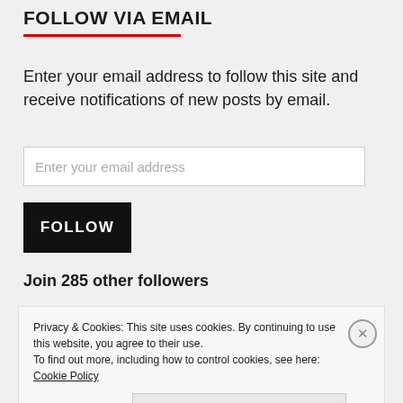FOLLOW VIA EMAIL
Enter your email address to follow this site and receive notifications of new posts by email.
Enter your email address
FOLLOW
Join 285 other followers
Privacy & Cookies: This site uses cookies. By continuing to use this website, you agree to their use.
To find out more, including how to control cookies, see here: Cookie Policy
Close and accept